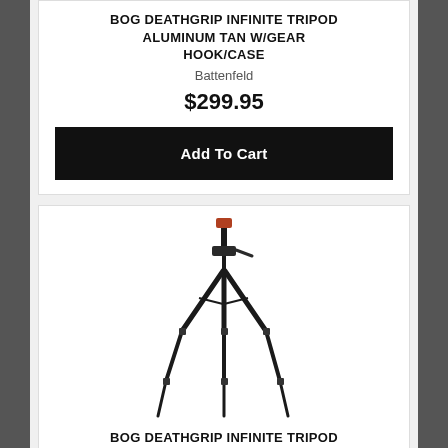BOG DEATHGRIP INFINITE TRIPOD ALUMINUM TAN W/GEAR HOOK/CASE
Battenfeld
$299.95
Add To Cart
[Figure (photo): BOG Deathgrip Infinite Tripod product photo showing a black tripod with ball head, three-section legs, on white background]
BOG DEATHGRIP INFINITE TRIPOD ALUMINUM CARBON FIBER W/CASE
Battenfeld